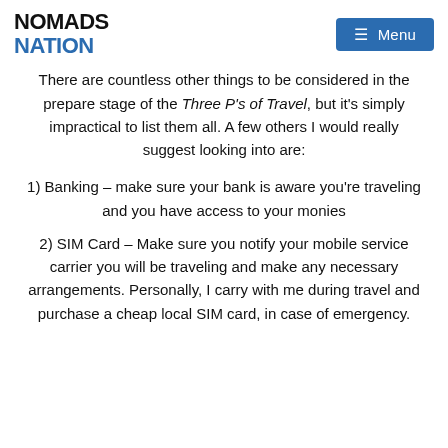NOMADS NATION | Menu
There are countless other things to be considered in the prepare stage of the Three P's of Travel, but it's simply impractical to list them all. A few others I would really suggest looking into are:
1) Banking – make sure your bank is aware you're traveling and you have access to your monies
2) SIM Card – Make sure you notify your mobile service carrier you will be traveling and make any necessary arrangements. Personally, I carry with me during travel and purchase a cheap local SIM card, in case of emergency.